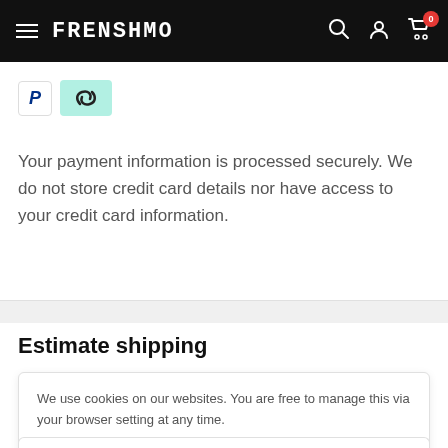FRENSHMO
[Figure (logo): PayPal icon badge]
[Figure (logo): Afterpay link icon badge on mint green background]
Your payment information is processed securely. We do not store credit card details nor have access to your credit card information.
Estimate shipping
We use cookies on our websites. You are free to manage this via your browser setting at any time.